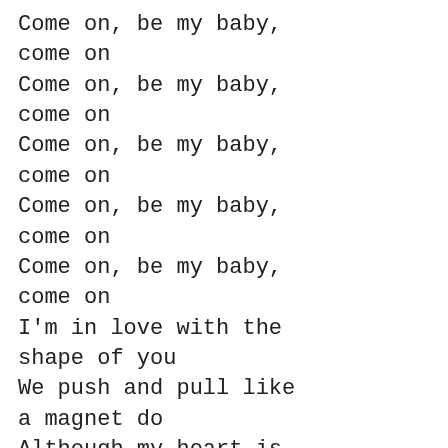Come on, be my baby, come on
Come on, be my baby, come on
Come on, be my baby, come on
Come on, be my baby, come on
Come on, be my baby, come on
I'm in love with the shape of you
We push and pull like a magnet do
Although my heart is falling too
I'm in love with your body
Last night you were in my room
And now my bedsheets smell like you